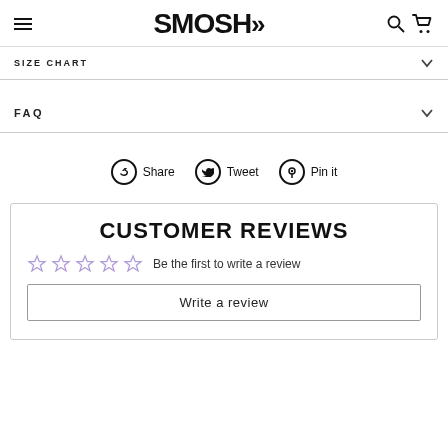SMOSH
SIZE CHART
FAQ
Share  Tweet  Pin it
CUSTOMER REVIEWS
Be the first to write a review
Write a review